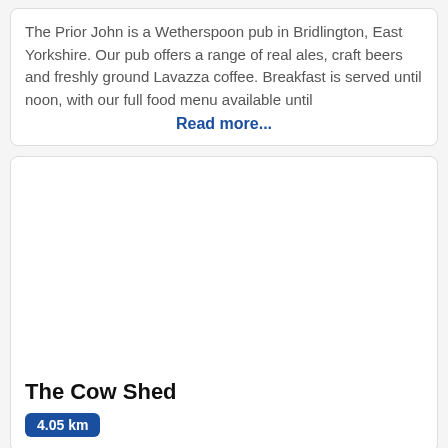The Prior John is a Wetherspoon pub in Bridlington, East Yorkshire. Our pub offers a range of real ales, craft beers and freshly ground Lavazza coffee. Breakfast is served until noon, with our full food menu available until
Read more...
[Figure (photo): Image area for The Cow Shed venue (blank/white placeholder)]
The Cow Shed
4.05 km